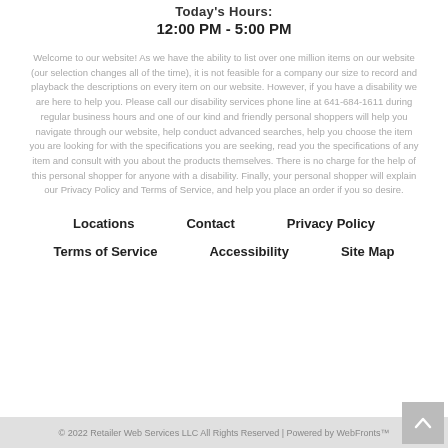Today's Hours:
12:00 PM - 5:00 PM
Welcome to our website! As we have the ability to list over one million items on our website (our selection changes all of the time), it is not feasible for a company our size to record and playback the descriptions on every item on our website. However, if you have a disability we are here to help you. Please call our disability services phone line at 641-684-1611 during regular business hours and one of our kind and friendly personal shoppers will help you navigate through our website, help conduct advanced searches, help you choose the item you are looking for with the specifications you are seeking, read you the specifications of any item and consult with you about the products themselves. There is no charge for the help of this personal shopper for anyone with a disability. Finally, your personal shopper will explain our Privacy Policy and Terms of Service, and help you place an order if you so desire.
Locations
Contact
Privacy Policy
Terms of Service
Accessibility
Site Map
© 2022 Retailer Web Services LLC All Rights Reserved | Powered by WebFronts™